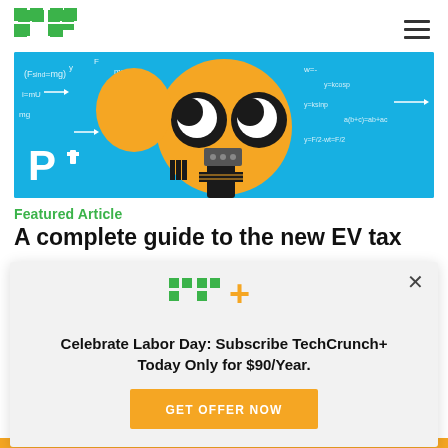TechCrunch logo and navigation
[Figure (illustration): Hero illustration on blue background with math equations, featuring a stylized robot/character with crescent moon eyes in orange and black, holding electronic components. Letter P with plug icon on the left.]
Featured Article
A complete guide to the new EV tax
[Figure (infographic): TechCrunch+ subscription modal overlay with TC+ logo, promotion text 'Celebrate Labor Day: Subscribe TechCrunch+ Today Only for $90/Year.' and a GET OFFER NOW button in yellow/orange. Close X button in top right.]